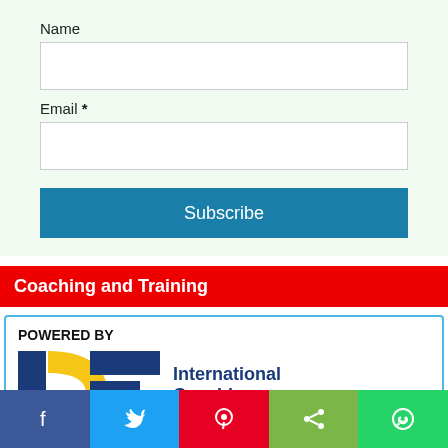Name
[Figure (other): Name input field (empty text box)]
Email *
[Figure (other): Email input field (empty text box)]
Subscribe
Coaching and Training
POWERED BY
[Figure (logo): ICF - International Coaching Federation logo with blue and gold graphic mark and blue text]
[Figure (other): Social share bar with Facebook, Twitter, Pinterest, Share, and WhatsApp buttons]